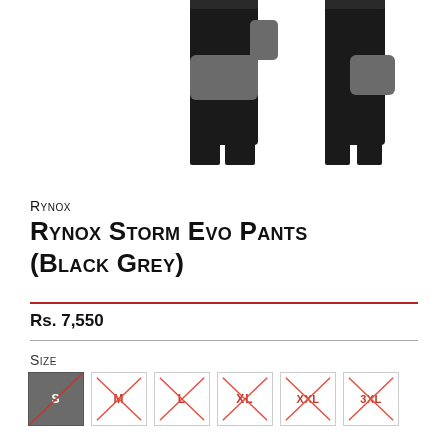[Figure (photo): Product photo of Rynox Storm Evo Pants in Black Grey colorway, showing two views of the pants — front angled and back/side view. The pants are black with grey panels on the knees and sides.]
Rynox
Rynox Storm Evo Pants (Black Grey)
Rs. 7,550
Size
S (selected/active)
M (crossed out, unavailable)
L (crossed out, unavailable)
XL (crossed out, unavailable)
XXL (crossed out, unavailable)
3XL (crossed out, unavailable)